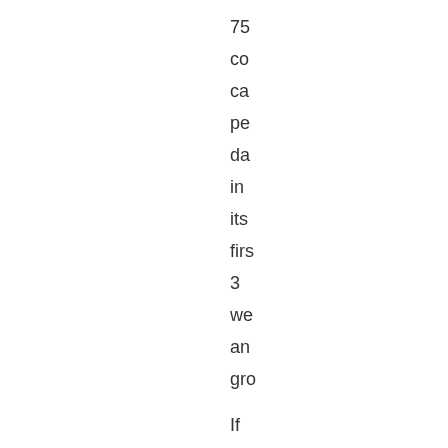75
co
ca
pe
da
in
its
firs
3
we
an
gro

If
yo
wa
the